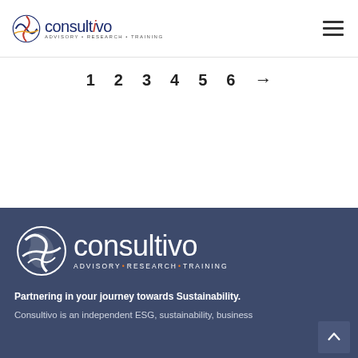[Figure (logo): Consultivo logo with globe icon, brand name in blue/red, tagline ADVISORY RESEARCH TRAINING]
[Figure (other): Hamburger menu icon (three horizontal lines) in top right corner]
1  2  3  4  5  6  →
[Figure (logo): Consultivo white logo on dark blue background with tagline ADVISORY • RESEARCH • TRAINING]
Partnering in your journey towards Sustainability.
Consultivo is an independent ESG, sustainability, business